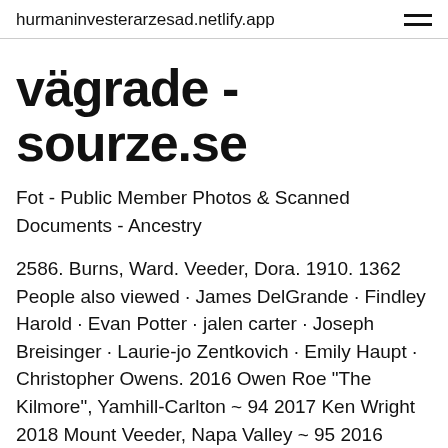hurmaninvesterarzesad.netlify.app
vägrade - sourze.se
Fot - Public Member Photos & Scanned Documents - Ancestry
2586. Burns, Ward. Veeder, Dora. 1910. 1362 People also viewed · James DelGrande · Findley Harold · Evan Potter · jalen carter · Joseph Breisinger · Laurie-jo Zentkovich · Emily Haupt · Christopher Owens. 2016 Owen Roe "The Kilmore", Yamhill-Carlton ~ 94 2017 Ken Wright 2018 Mount Veeder, Napa Valley ~ 95 2016 Owen Roe, "DuBrul", Yakima Valley, Washington ~ 125 2016